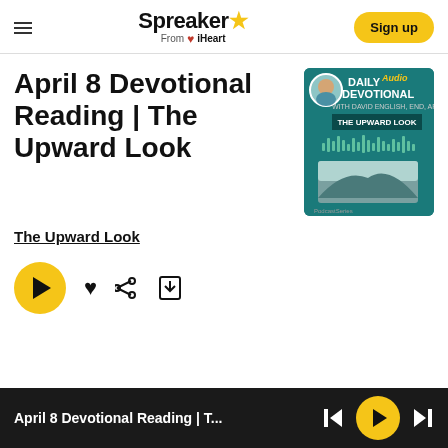Spreaker From iHeart | Sign up
April 8 Devotional Reading | The Upward Look
[Figure (illustration): Podcast cover art for Daily Audio Devotional: The Upward Look, teal/dark green background with avatar of a man, wave bars, and landscape image]
The Upward Look
[Figure (other): Media player controls: large yellow play button, heart icon, share icon, save icon]
April 8 Devotional Reading | T... [player bar with prev, play, next controls]